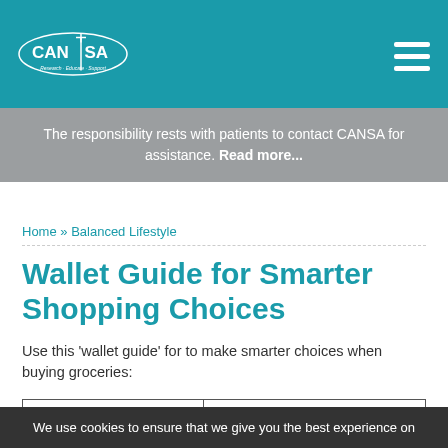[Figure (logo): CANSA logo — oval shape with CAN|SA text and tagline 'Research · Educate · Support']
The responsibility rests with patients to contact CANSA for assistance. Read more...
Home » Balanced Lifestyle
Wallet Guide for Smarter Shopping Choices
Use this 'wallet guide' for to make smarter choices when buying groceries:
| This food is.... | Per 100g of food |
| --- | --- |
We use cookies to ensure that we give you the best experience on